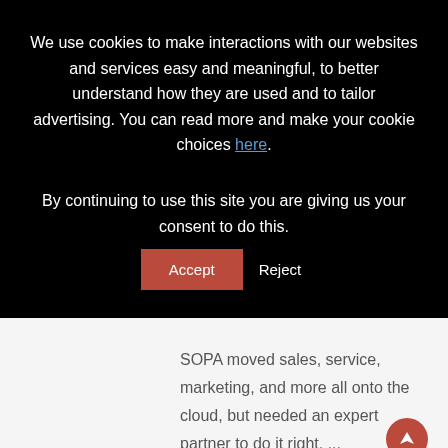We use cookies to make interactions with our websites and services easy and meaningful, to better understand how they are used and to tailor advertising. You can read more and make your cookie choices here.
By continuing to use this site you are giving us your consent to do this. Accept Reject
SOPA moved sales, service, marketing, and more all onto the cloud, but needed an expert partner to do it right. ...
GET IN TOUCH